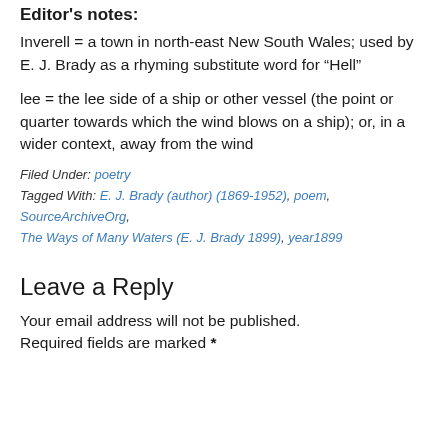Editor's notes:
Inverell = a town in north-east New South Wales; used by E. J. Brady as a rhyming substitute word for “Hell”
lee = the lee side of a ship or other vessel (the point or quarter towards which the wind blows on a ship); or, in a wider context, away from the wind
Filed Under: poetry
Tagged With: E. J. Brady (author) (1869-1952), poem, SourceArchiveOrg, The Ways of Many Waters (E. J. Brady 1899), year1899
Leave a Reply
Your email address will not be published. Required fields are marked *